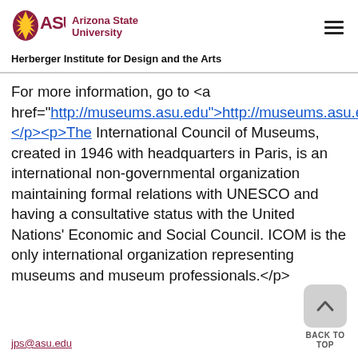ASU Arizona State University — Herberger Institute for Design and the Arts
For more information, go to <a href="http://museums.asu.edu">http://museums.asu.edu</p><p>The International Council of Museums, created in 1946 with headquarters in Paris, is an international non-governmental organization maintaining formal relations with UNESCO and having a consultative status with the United Nations' Economic and Social Council. ICOM is the only international organization representing museums and museum professionals.</p>
jps@asu.edu